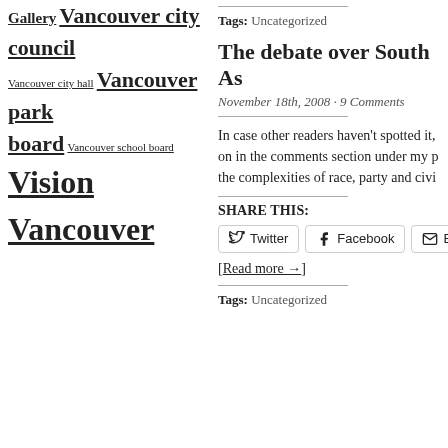Gallery Vancouver city council Vancouver city hall Vancouver park board Vancouver school board Vision Vancouver
Tags: Uncategorized
The debate over South As
November 18th, 2008 · 9 Comments
In case other readers haven't spotted it, on in the comments section under my p the complexities of race, party and civi
SHARE THIS:
Twitter Facebook Ema
[Read more →]
Tags: Uncategorized